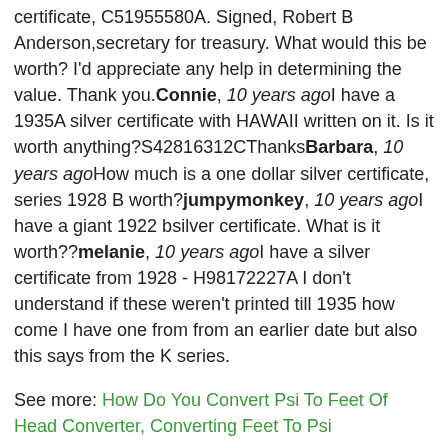certificate, C51955580A. Signed, Robert B Anderson,secretary for treasury. What would this be worth? I'd appreciate any help in determining the value. Thank you.Connie, 10 years agoI have a 1935A silver certificate with HAWAII written on it. Is it worth anything?S42816312CThanks Barbara, 10 years agoHow much is a one dollar silver certificate, series 1928 B worth?jumpymonkey, 10 years agoI have a giant 1922 bsilver certificate. What is it worth??melanie, 10 years agoI have a silver certificate from 1928 - H98172227A I don't understand if these weren't printed till 1935 how come I have one from from an earlier date but also this says from the K series.
See more: How Do You Convert Psi To Feet Of Head Converter, Converting Feet To Psi
Want to post a comment?